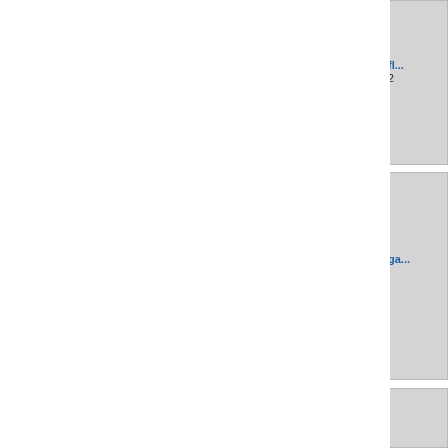[Figure (screenshot): File browser / wiki image gallery showing icon tiles for floppy disk and gamepad images at various resolutions. Top row: floppy_di... 48×48 2020/08/13 13:57 4.1 KB; floppy_di... 128×128 2020/08/13 13:57 15.8 KB; partial third floppy tile. Middle row: gamepad... 16×16 2020/08/13 13:57 916 B; gamepad... 24×24 2020/08/13 13:57 1.4 KB; partial third gamepad tile. Bottom row: three partial tiles visible.]